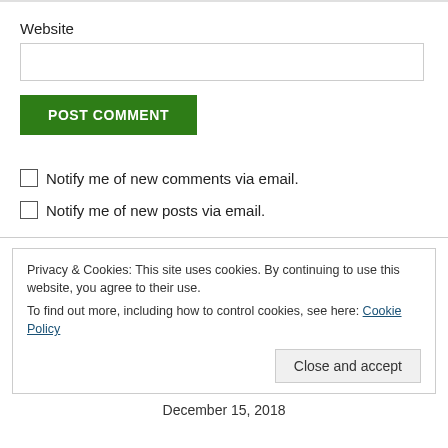Website
POST COMMENT
Notify me of new comments via email.
Notify me of new posts via email.
Privacy & Cookies: This site uses cookies. By continuing to use this website, you agree to their use.
To find out more, including how to control cookies, see here: Cookie Policy
Close and accept
December 15, 2018